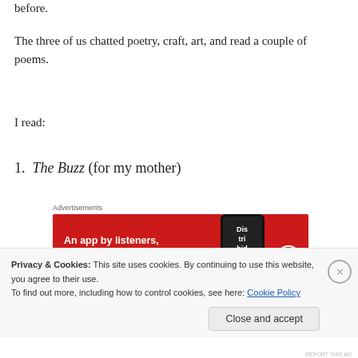before.
The three of us chatted poetry, craft, art, and read a couple of poems.
I read:
1. The Buzz (for my mother)
[Figure (other): Pocket Casts advertisement banner: 'An app by listeners, for listeners.' with phone graphic on red background]
2. Licence To Kill: A Poem For Michael Bryant and Co. (in
Privacy & Cookies: This site uses cookies. By continuing to use this website, you agree to their use. To find out more, including how to control cookies, see here: Cookie Policy